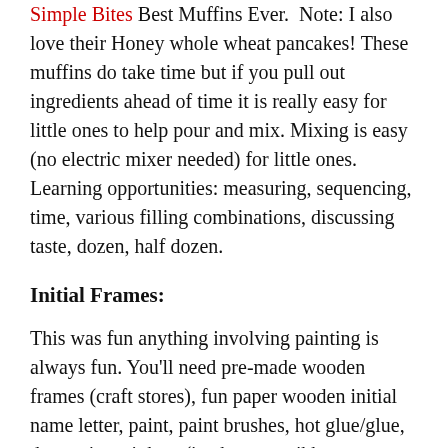Simple Bites Best Muffins Ever.  Note: I also love their Honey whole wheat pancakes! These muffins do take time but if you pull out ingredients ahead of time it is really easy for little ones to help pour and mix. Mixing is easy (no electric mixer needed) for little ones. Learning opportunities: measuring, sequencing, time, various filling combinations, discussing taste, dozen, half dozen.
Initial Frames:
This was fun anything involving painting is always fun. You'll need pre-made wooden frames (craft stores), fun paper wooden initial name letter, paint, paint brushes, hot glue/glue, decorating trinkets (i.e, buttons, ribbons, sea shells). Have your kids paint the frames and letters with desired colors and let dry. Next add